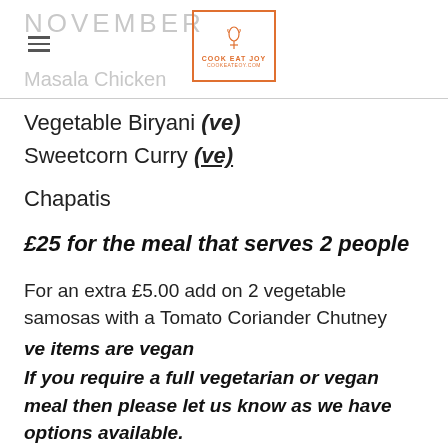NOVEMBER
[Figure (logo): Cook Eat Joy logo in orange square border with icon and text]
Masala Chicken
Vegetable Biryani (ve)
Sweetcorn Curry (ve)
Chapatis
£25 for the meal that serves 2 people
For an extra £5.00 add on 2 vegetable samosas with a Tomato Coriander Chutney
ve items are vegan
If you require a full vegetarian or vegan meal then please let us know as we have options available.